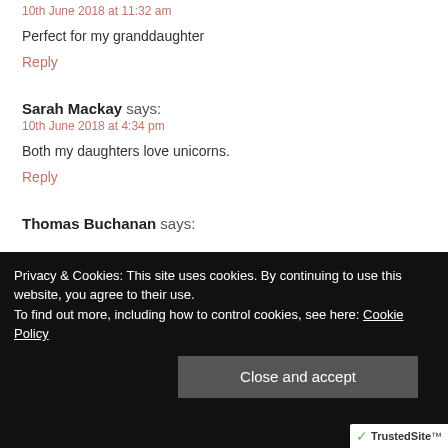10th June 2018 at 11:32 am
Perfect for my granddaughter
Reply
Sarah Mackay says:
10th June 2018 at 4:34 pm
Both my daughters love unicorns.
Reply
Thomas Buchanan says:
Privacy & Cookies: This site uses cookies. By continuing to use this website, you agree to their use. To find out more, including how to control cookies, see here: Cookie Policy
Close and accept
TrustedSite